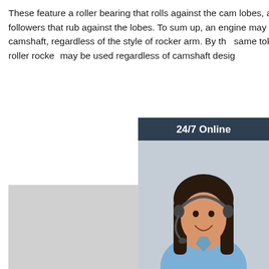These feature a roller bearing that rolls against the cam lobes, as opposed to nonroller followers that rub against the lobes. To sum up, an engine may be equipped with a roller camshaft, regardless of the style of rocker arm. By the same token, pivot-roller or full-roller rocker arms may be used regardless of camshaft design
[Figure (other): Get Price orange button]
[Figure (other): 24/7 Online chat widget with female customer service representative wearing headset, and QUOTATION button]
[Figure (photo): Photo of multiple small roller bearings/cam followers in various colors (green, black, gray, white) scattered on a gray surface]